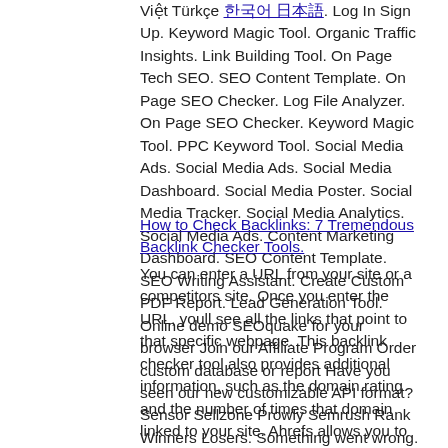Việt Türkçe 한국어 日本語. Log In Sign Up. Keyword Magic Tool. Organic Traffic Insights. Link Building Tool. On Page Tech SEO. SEO Content Template. On Page SEO Checker. Log File Analyzer. On Page SEO Checker. Keyword Magic Tool. PPC Keyword Tool. Social Media Ads. Social Media Ads. Social Media Dashboard. Social Media Poster. Social Media Tracker. Social Media Analytics. Social Media Ads. Content Marketing Dashboard. SEO Content Template. SEO Writing Assistant. Create Custom PDF Report. Lead Generation Tool. Online demo SEOquake for your browser Join our Affiliate Program Order custom database or report Have you seen our new customizable API format? Sensor Sellzone Prowly Semrush Rank Winners Losers. Something went wrong. There seems to be a problem with the server.
How to Check Backlinks: 7 Tremendous Backlink Checker Tools. You can enter a URL from your site or a competitors site. Once you enter the URL, youll see all the links that point to that specific webpage. This backlink checker tool also provides additional information, such as the domain rating and the number of times that domain linked to your site. Ahrefs allows you to see new, broken, and lost links to a site as well. With new links, you can start generating a repertoire with those sites to earn more links in the future. With broken and lost links, you can work on contacting the websites that initially linked to you and get those links back. This tool also enables you to monitor backlink profiles. Youll see the growth and decline of your backlinks, as well as the organic traffic that visits each page. Ahrefs also helps you see which pages drive the most success with their most linked-to pages feature. Overall, Ahrefs provides